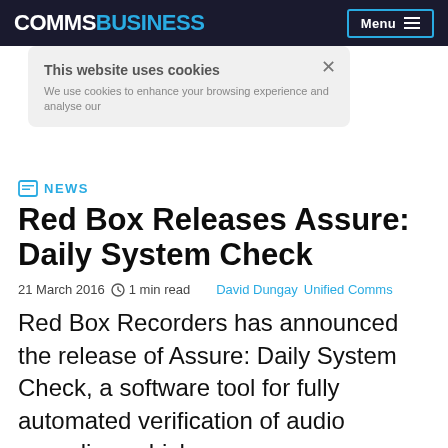COMMS BUSINESS  Menu
NEWS
Red Box Releases Assure: Daily System Check
21 March 2016  1 min read  David Dungay  Unified Comms
Red Box Recorders has announced the release of Assure: Daily System Check, a software tool for fully automated verification of audio recording, which